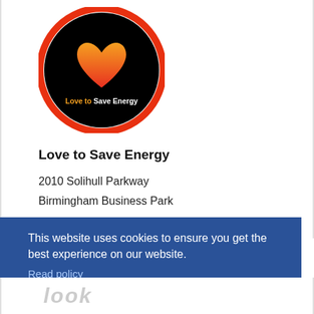[Figure (logo): Love to Save Energy circular logo with orange-red gradient border, black background, orange heart icon, and text 'Love to Save Energy' in orange/white]
Love to Save Energy
2010 Solihull Parkway
Birmingham Business Park
This website uses cookies to ensure you get the best experience on our website.
Read policy
Accept
[Figure (logo): Partial grey logo at bottom of page, appears to read 'look' in stylized italic letters]